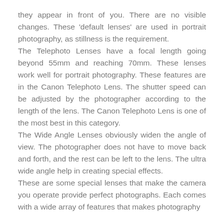they appear in front of you. There are no visible changes. These 'default lenses' are used in portrait photography, as stillness is the requirement.
The Telephoto Lenses have a focal length going beyond 55mm and reaching 70mm. These lenses work well for portrait photography. These features are in the Canon Telephoto Lens. The shutter speed can be adjusted by the photographer according to the length of the lens. The Canon Telephoto Lens is one of the most best in this category.
The Wide Angle Lenses obviously widen the angle of view. The photographer does not have to move back and forth, and the rest can be left to the lens. The ultra wide angle help in creating special effects.
These are some special lenses that make the camera you operate provide perfect photographs. Each comes with a wide array of features that makes photography